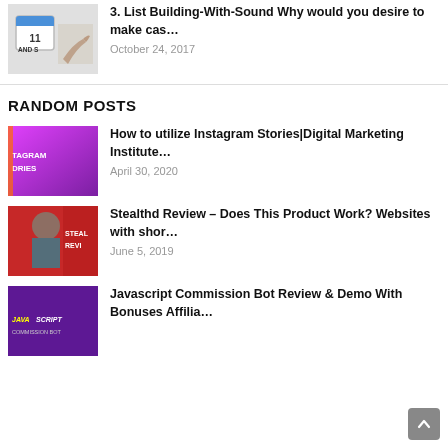[Figure (photo): Thumbnail showing a calendar with number 11 and a hand writing, text AND S partially visible]
3. List Building-With-Sound Why would you desire to make cas…
October 24, 2017
RANDOM POSTS
[Figure (photo): Thumbnail with pink/purple gradient background, text TAGRAM DRIES visible]
How to utilize Instagram Stories|Digital Marketing Institute…
April 30, 2020
[Figure (photo): Thumbnail with red background, person visible, text STEAL REVI]
Stealthd Review – Does This Product Work? Websites with shor…
June 5, 2019
[Figure (photo): Thumbnail with purple/dark background, JAVASCRIPT text visible]
Javascript Commission Bot Review & Demo With Bonuses Affilia…